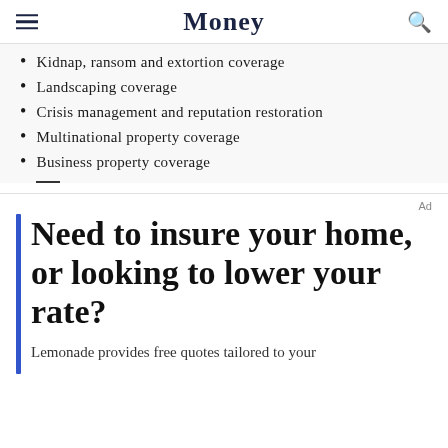Money
Kidnap, ransom and extortion coverage
Landscaping coverage
Crisis management and reputation restoration
Multinational property coverage
Business property coverage
Ad
Need to insure your home, or looking to lower your rate?
Lemonade provides free quotes tailored to your